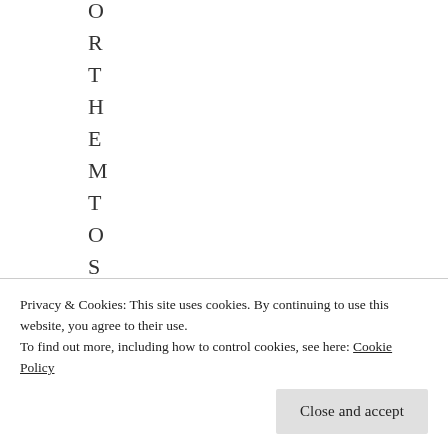O
R
T
H
E
M
T
O
S
H
O
Privacy & Cookies: This site uses cookies. By continuing to use this website, you agree to their use.
To find out more, including how to control cookies, see here: Cookie Policy
Close and accept
Z